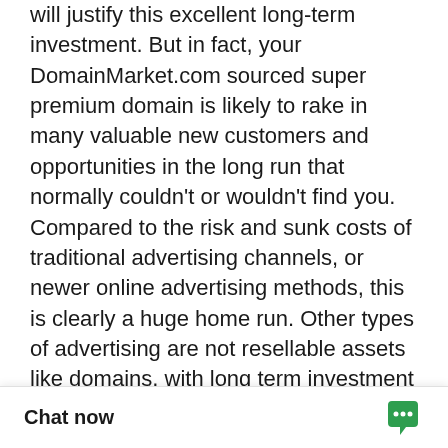will justify this excellent long-term investment. But in fact, your DomainMarket.com sourced super premium domain is likely to rake in many valuable new customers and opportunities in the long run that normally couldn't or wouldn't find you. Compared to the risk and sunk costs of traditional advertising channels, or newer online advertising methods, this is clearly a huge home run. Other types of advertising are not resellable assets like domains, with long term investment opportunity; other advertising investments are all very risky comparatively, and are mostly wasted if you think about it.

First come, first served. Don't miss this once in a lifetime opportunity to be #1. The first person or company to secure AdviceAdda.com from this site can control it forever, to t... become out of our co...
Chat now